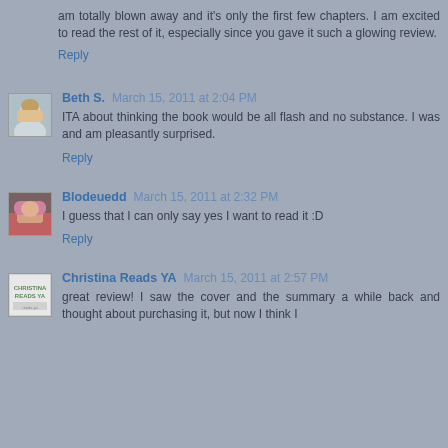am totally blown away and it's only the first few chapters. I am excited to read the rest of it, especially since you gave it such a glowing review.
Reply
Beth S. March 15, 2011 at 2:04 PM
ITA about thinking the book would be all flash and no substance. I was and am pleasantly surprised.
Reply
Blodeuedd March 15, 2011 at 2:32 PM
I guess that I can only say yes I want to read it :D
Reply
Christina Reads YA March 15, 2011 at 2:57 PM
great review! I saw the cover and the summary a while back and thought about purchasing it, but now I think I